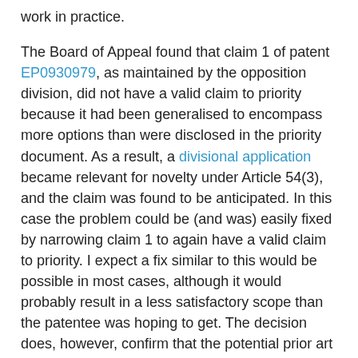work in practice.
The Board of Appeal found that claim 1 of patent EP0930979, as maintained by the opposition division, did not have a valid claim to priority because it had been generalised to encompass more options than were disclosed in the priority document. As a result, a divisional application became relevant for novelty under Article 54(3), and the claim was found to be anticipated. In this case the problem could be (and was) easily fixed by narrowing claim 1 to again have a valid claim to priority. I expect a fix similar to this would be possible in most cases, although it would probably result in a less satisfactory scope than the patentee was hoping to get. The decision does, however, confirm that the potential prior art effect of divisional applications should be carefully considered and not just dismissed as a theoretical possibility. More importantly, it shows that great care should be taken when filing an application from which priority will be claimed, particularly when the priority filing is narrow in its disclosure and needs to be generalised in a later filing. In some cases it might even be worth abandoning a priority filing and re-setting the clock to avoid such a